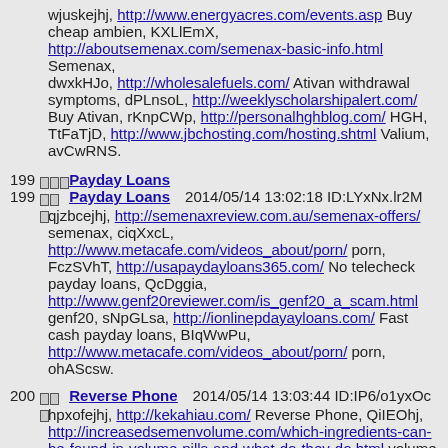wjuskejhj, http://www.energyacres.com/events.asp Buy cheap ambien, KXLlEmX, http://aboutsemenax.com/semenax-basic-info.html Semenax, dwxkHJo, http://wholesalefuels.com/ Ativan withdrawal symptoms, dPLnsoL, http://weeklyscholarshipalert.com/ Buy Ativan, rKnpCWp, http://personalhghblog.com/ HGH, TtFaTjD, http://www.jbchosting.com/hosting.shtml Valium, avCwRNS.
199 [icons] Payday Loans 2014/05/14 13:02:18 ID:LYxNx.lr2M qjzbcejhj, http://semenaxreview.com.au/semenax-offers/ semenax, ciqXxcL, http://www.metacafe.com/videos_about/porn/ porn, FczSVhT, http://usapaydayloans365.com/ No telecheck payday loans, QcDggia, http://www.genf20reviewer.com/is_genf20_a_scam.html genf20, sNpGLsa, http://ionlinepdayayloans.com/ Fast cash payday loans, BIqWwPu, http://www.metacafe.com/videos_about/porn/ porn, ohAScsw.
200 [icons] Reverse Phone 2014/05/14 13:03:44 ID:IP6/o1yxOc hpxofejhj, http://kekahiau.com/ Reverse Phone, QiIEOhj, http://increasedsemenvolume.com/which-ingredients-can-be-found-in-volume-pills-and-what-do-they-do.html volume